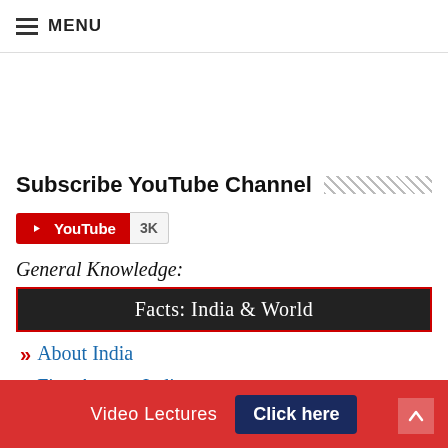MENU
Subscribe YouTube Channel
[Figure (other): YouTube subscribe button showing 3K subscribers]
General Knowledge:
Facts: India & World
About India
First Among Indians
First Among Indian Women
Biggest, Smallest, Largest, Deepest &
Video Lectures  Click here